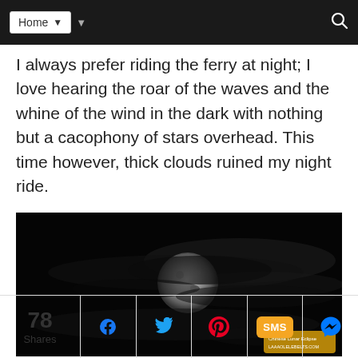Home
I always prefer riding the ferry at night; I love hearing the roar of the waves and the whine of the wind in the dark with nothing but a cacophony of stars overhead. This time however, thick clouds ruined my night ride.
[Figure (photo): Night photograph of the moon partially obscured by thick clouds against a dark sky, with a small watermark in the lower right corner.]
78 Shares
[Figure (infographic): Social share buttons row: Facebook, Twitter, Pinterest, SMS, Messenger]